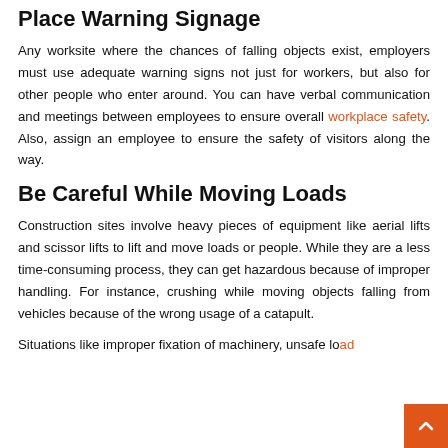Place Warning Signage
Any worksite where the chances of falling objects exist, employers must use adequate warning signs not just for workers, but also for other people who enter around. You can have verbal communication and meetings between employees to ensure overall workplace safety. Also, assign an employee to ensure the safety of visitors along the way.
Be Careful While Moving Loads
Construction sites involve heavy pieces of equipment like aerial lifts and scissor lifts to lift and move loads or people. While they are a less time-consuming process, they can get hazardous because of improper handling. For instance, crushing while moving objects falling from vehicles because of the wrong usage of a catapult.
Situations like improper fixation of machinery, unsafe load...